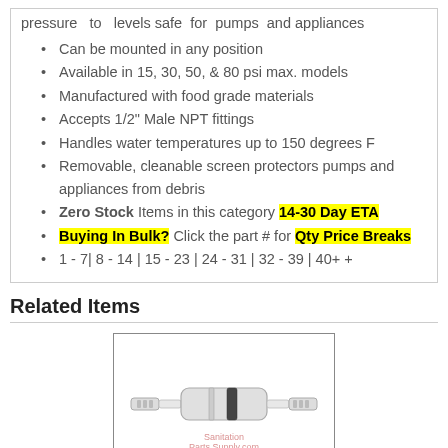pressure to levels safe for pumps and appliances
Can be mounted in any position
Available in 15, 30, 50, & 80 psi max. models
Manufactured with food grade materials
Accepts 1/2" Male NPT fittings
Handles water temperatures up to 150 degrees F
Removable, cleanable screen protectors pumps and appliances from debris
Zero Stock Items in this category 14-30 Day ETA
Buying In Bulk? Click the part # for Qty Price Breaks
1 - 7| 8 - 14 | 15 - 23 | 24 - 31 | 32 - 39 | 40+ +
Related Items
[Figure (photo): A small inline water filter/check valve component shown against white background with Sanitation Parts Supply watermark]